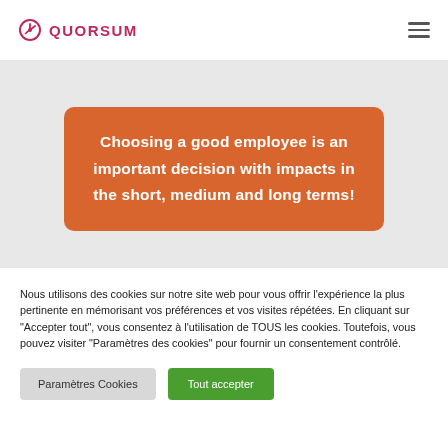QUORSUM
Choosing a good employee is an important decision with impacts in the short, medium and long terms!
Nous utilisons des cookies sur notre site web pour vous offrir l'expérience la plus pertinente en mémorisant vos préférences et vos visites répétées. En cliquant sur "Accepter tout", vous consentez à l'utilisation de TOUS les cookies. Toutefois, vous pouvez visiter "Paramètres des cookies" pour fournir un consentement contrôlé.
Paramètres Cookies
Tout accepter